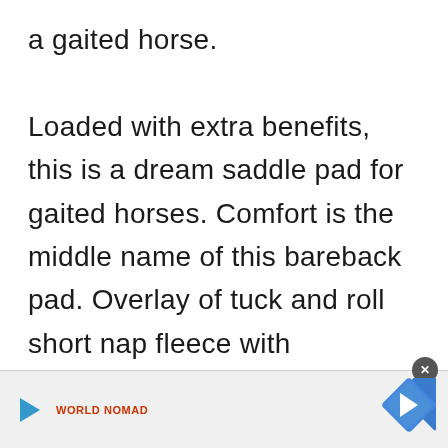a gaited horse. Loaded with extra benefits, this is a dream saddle pad for gaited horses. Comfort is the middle name of this bareback pad. Overlay of tuck and roll short nap fleece with cushioned slightly high rise cantle provide
[Figure (other): Advertisement bar at bottom with play button, World Nomad logo text, close button (X), and blue diamond navigation arrow icon]